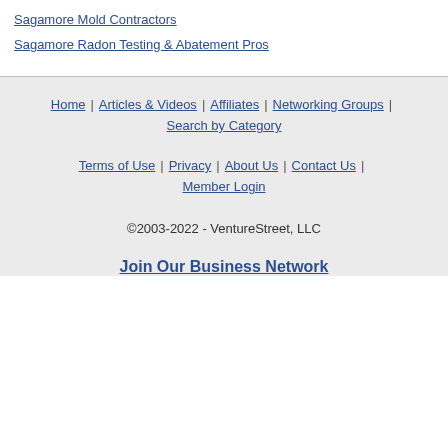Sagamore Mold Contractors
Sagamore Radon Testing & Abatement Pros
Home | Articles & Videos | Affiliates | Networking Groups | Search by Category
Terms of Use | Privacy | About Us | Contact Us | Member Login
©2003-2022 - VentureStreet, LLC
Join Our Business Network